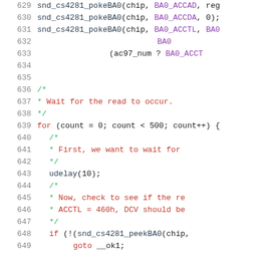[Figure (screenshot): Source code snippet in C showing lines 629-649, featuring function calls to snd_cs4281_pokeBA0 and snd_cs4281_peekBA0, a for loop with count variable, udelay(10), and comments about waiting for read to occur and checking AC97 DCV bit.]